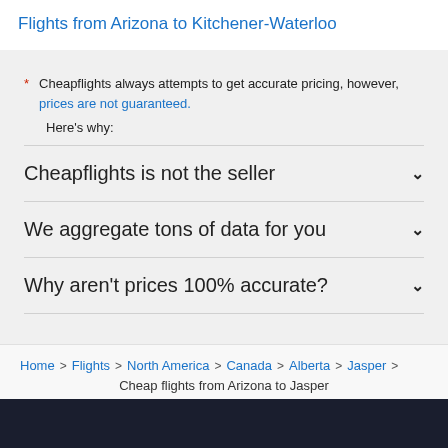Flights from Arizona to Kitchener-Waterloo
* Cheapflights always attempts to get accurate pricing, however, prices are not guaranteed.
Here's why:
Cheapflights is not the seller
We aggregate tons of data for you
Why aren't prices 100% accurate?
Home > Flights > North America > Canada > Alberta > Jasper
Cheap flights from Arizona to Jasper